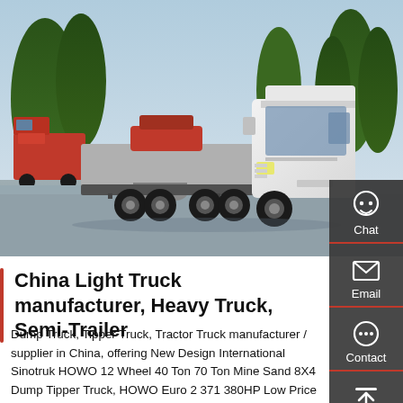[Figure (photo): A white Sinotruk HOWO heavy tractor truck (semi-truck cab) parked in a lot, with trees in the background and a red truck visible to the left. Clear sky overhead.]
China Light Truck manufacturer, Heavy Truck, Semi-Trailer
Dump Truck, Tipper Truck, Tractor Truck manufacturer / supplier in China, offering New Design International Sinotruk HOWO 12 Wheel 40 Ton 70 Ton Mine Sand 8X4 Dump Tipper Truck, HOWO Euro 2 371 380HP Low Price 8X4 25cbm Capacity 12 Wheel 50 Ton